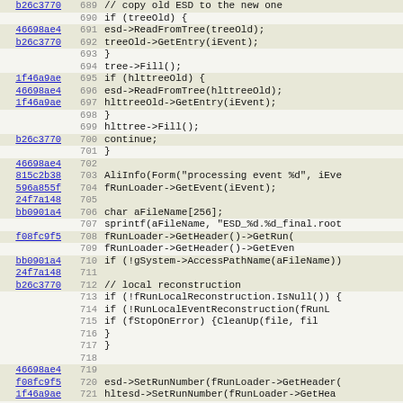Source code diff view, lines 689–721, showing C++ code with commit hashes and line numbers. Code includes tree operations, ESD reading, file name handling, and local reconstruction logic.